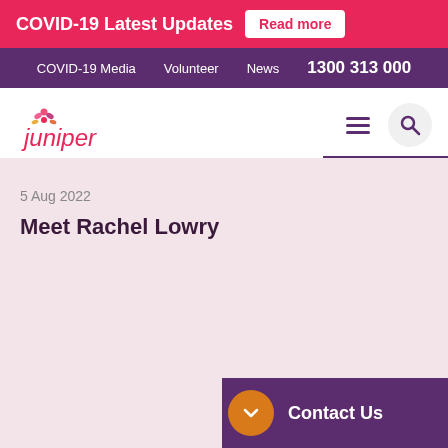COVID-19 Latest Updates  Read more
COVID-19 Media  Volunteer  News  1300 313 000
Juniper  Juniper News
5 Aug 2022
Meet Rachel Lowry
Contact Us